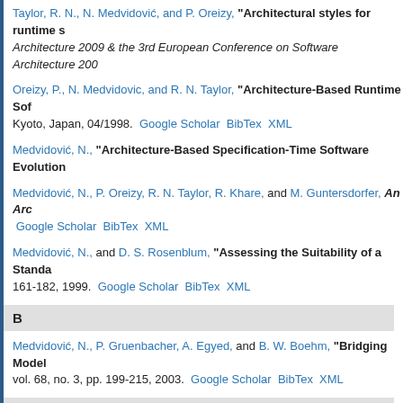Taylor, R. N., N. Medvidović, and P. Oreizy, "Architectural styles for runtime s... Architecture 2009 & the 3rd European Conference on Software Architecture 200...
Oreizy, P., N. Medvidovic, and R. N. Taylor, "Architecture-Based Runtime Sof... Kyoto, Japan, 04/1998. Google Scholar BibTex XML
Medvidović, N., "Architecture-Based Specification-Time Software Evolution...
Medvidović, N., P. Oreizy, R. N. Taylor, R. Khare, and M. Guntersdorfer, An Arc... Google Scholar BibTex XML
Medvidović, N., and D. S. Rosenblum, "Assessing the Suitability of a Standa... 161-182, 1999. Google Scholar BibTex XML
B
Medvidović, N., P. Gruenbacher, A. Egyed, and B. W. Boehm, "Bridging Model... vol. 68, no. 3, pp. 199-215, 2003. Google Scholar BibTex XML
C
Medvidović, N., and R. N. Taylor, "A Classification and Comparison Framewo... EngineeringIEEE Transactions on Software Engineering, vol. 26, no. 1, pp. 70-9...
Taylor, R. N., N. Medvidovic, K. M. Anderson, J. E. Whitehead, and J. E. Robbin... Seventeenth International Conference on Software Engineering (ICSE17), Seatt...